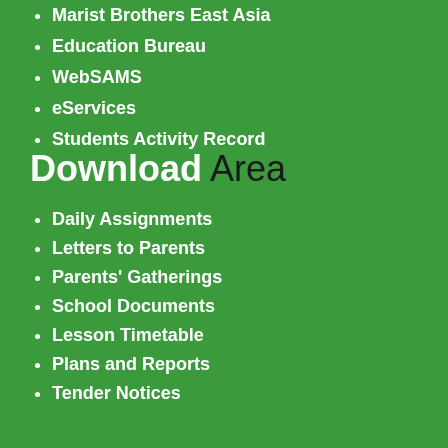Marist Brothers East Asia
Education Bureau
WebSAMS
eServices
Students Activity Record
Download Area
Daily Assignments
Letters to Parents
Parents' Gatherings
School Documents
Lesson Timetable
Plans and Reports
Tender Notices